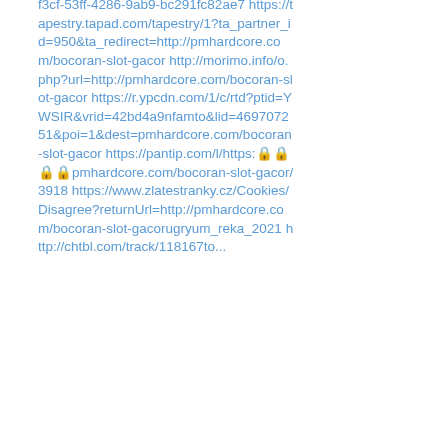f3cf-53ff-4286-9ab9-bc291fc82ae7 https://tapestry.tapad.com/tapestry/1?ta_partner_id=950&ta_redirect=http://pmhardcore.com/bocoran-slot-gacor http://morimo.info/o.php?url=http://pmhardcore.com/bocoran-slot-gacor https://r.ypcdn.com/1/c/rtd?ptid=YWSIR&vrid=42bd4a9nfamto&lid=469707251&poi=1&dest=pmhardcore.com/bocoran-slot-gacor https://pantip.com/l/https:🔒🔒🔒🔒pmhardcore.com/bocoran-slot-gacor/3918 https://www.zlatestranky.cz/Cookies/Disagree?returnUrl=http://pmhardcore.com/bocoran-slot-gacorugryum_reka_2021 http://chtbl.com/track/11816 7to...